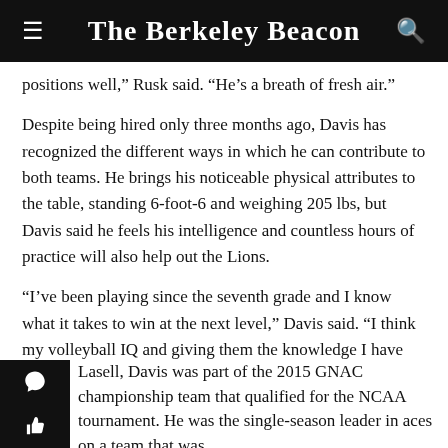The Berkeley Beacon
positions well,” Rusk said. “He’s a breath of fresh air.”
Despite being hired only three months ago, Davis has recognized the different ways in which he can contribute to both teams. He brings his noticeable physical attributes to the table, standing 6-foot-6 and weighing 205 lbs, but Davis said he feels his intelligence and countless hours of practice will also help out the Lions.
“I’ve been playing since the seventh grade and I know what it takes to win at the next level,” Davis said. “I think my volleyball IQ and giving them the knowledge I have from the experiences I’ve been through will benefit the teams.”
Lasell, Davis was part of the 2015 GNAC championship team that qualified for the NCAA tournament. He was the single-season leader in aces on a team that was